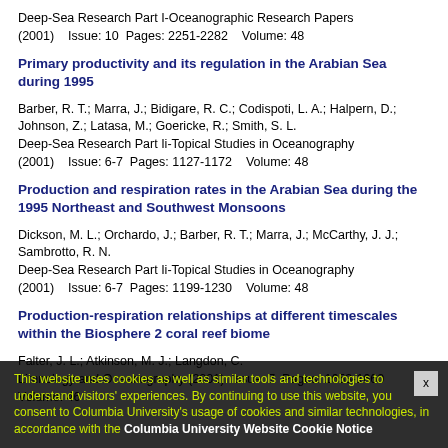Deep-Sea Research Part I-Oceanographic Research Papers (2001)    Issue: 10  Pages: 2251-2282    Volume: 48
Primary productivity and its regulation in the Arabian Sea during 1995
Barber, R. T.; Marra, J.; Bidigare, R. C.; Codispoti, L. A.; Halpern, D.; Johnson, Z.; Latasa, M.; Goericke, R.; Smith, S. L.
Deep-Sea Research Part Ii-Topical Studies in Oceanography
(2001)    Issue: 6-7  Pages: 1127-1172    Volume: 48
Production and respiration rates in the Arabian Sea during the 1995 Northeast and Southwest Monsoons
Dickson, M. L.; Orchardo, J.; Barber, R. T.; Marra, J.; McCarthy, J. J.; Sambrotto, R. N.
Deep-Sea Research Part Ii-Topical Studies in Oceanography
(2001)    Issue: 6-7  Pages: 1199-1230    Volume: 48
Production-respiration relationships at different timescales within the Biosphere 2 coral reef biome
Falter, J. L.; Atkinson, M. J.; Langdon, C.
Limnology and Oceanography (2001)  Issue: 7  Pages: 1653-1660  Volume: 46